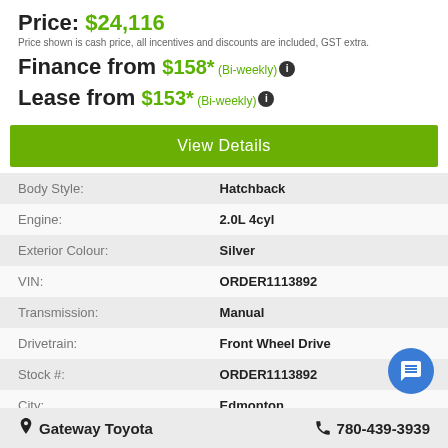Price: $24,116
Price shown is cash price, all incentives and discounts are included, GST extra.
Finance from $158* (Bi-weekly)
Lease from $153* (Bi-weekly)
View Details
|  |  |
| --- | --- |
| Body Style: | Hatchback |
| Engine: | 2.0L 4cyl |
| Exterior Colour: | Silver |
| VIN: | ORDER1113892 |
| Transmission: | Manual |
| Drivetrain: | Front Wheel Drive |
| Stock #: | ORDER1113892 |
| City: | Edmonton |
Gateway Toyota   780-439-3939